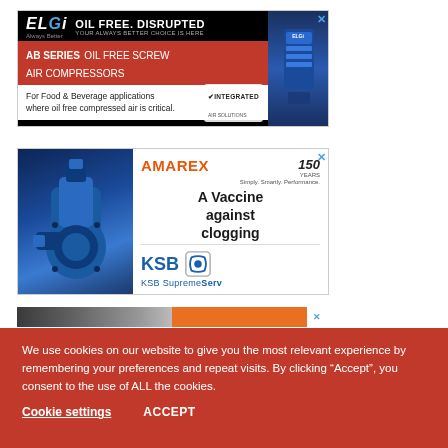[Figure (illustration): ELGi advertisement: 'OIL FREE. DISRUPTED' with AB Series oil free screw air compressors for food and beverage applications. Red and black design with compressor image.]
[Figure (illustration): AMAREX by KSB advertisement: 'A Vaccine against clogging' with blue submersible pump image. KSB SupremeServ branding and 150 years anniversary logo.]
[Figure (illustration): Partial third advertisement visible at top of cookie banner area.]
We use cookies on our website to give you the most relevant experience by remembering your preferences and repeat visits. By clicking "Accept", you consent to the use of ALL the cookies.
Cookie settings
ACCEPT